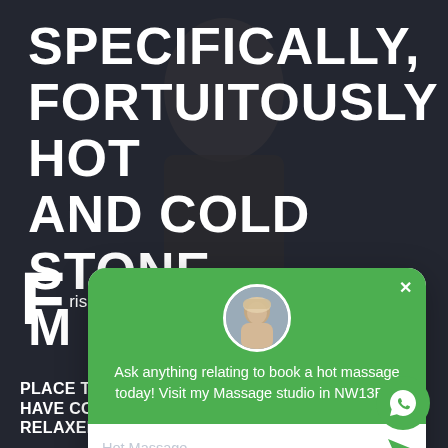[Figure (photo): Dark background with partially visible male figure, used as hero background for a massage website]
SPECIFICALLY, FORTUITOUSLY HOT AND COLD STONE M
[Figure (screenshot): Chat popup widget with green header, avatar photo of young man, message text, and input field]
Ask anything relating to book a hot massage today! Visit my Massage studio in NW13EN.
Hot Massage
Frisky Male Massages Near Me
PLACE TOUCH RELAXING MASSAGE HAVE COME TO THE RIGHT PLACE LESS RELAXED HUMBLE PERSONALITY WILL